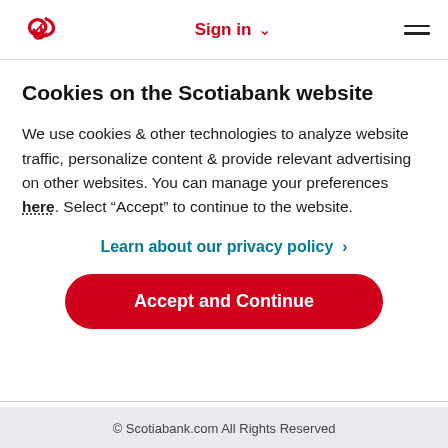Sign in
Cookies on the Scotiabank website
We use cookies & other technologies to analyze website traffic, personalize content & provide relevant advertising on other websites. You can manage your preferences here. Select “Accept” to continue to the website.
Learn about our privacy policy >
Accept and Continue
© Scotiabank.com All Rights Reserved